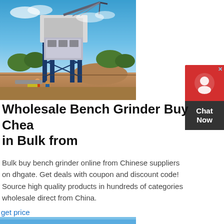[Figure (photo): Industrial mining/crushing machine on stilts with crane structure against blue sky, people visible at base, dirt mound in background]
Wholesale Bench Grinder Buy Chea in Bulk from
Bulk buy bench grinder online from Chinese suppliers on dhgate. Get deals with coupon and discount code! Source high quality products in hundreds of categories wholesale direct from China.
get price
[Figure (photo): Partial view of blue sky image at bottom of page]